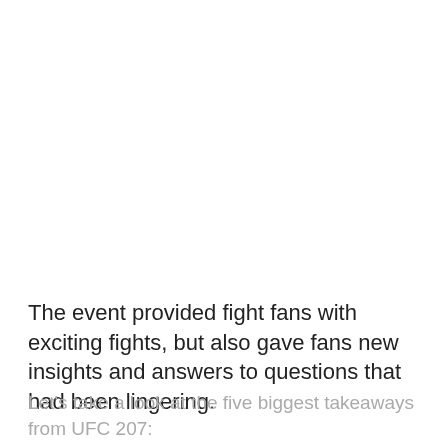The event provided fight fans with exciting fights, but also gave fans new insights and answers to questions that had been lingering.
Let's take a look at the five biggest takeaways from UFC 207: